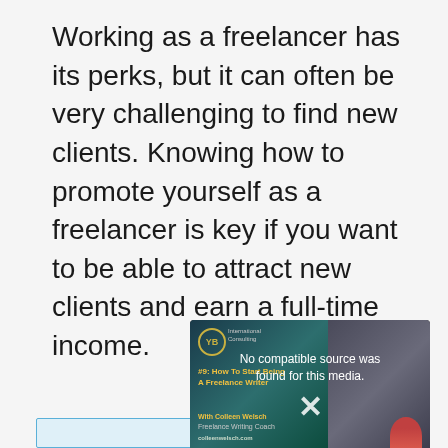Working as a freelancer has its perks, but it can often be very challenging to find new clients. Knowing how to promote yourself as a freelancer is key if you want to be able to attract new clients and earn a full-time income.
[Figure (screenshot): An embedded video player showing a media error message 'No compatible source was found for this media.' with an X button. The video thumbnail shows branding for an International Consulting podcast episode #9: How To Start Being A Freelance Writer, with Colleen Welsch, Freelance Writing Coach, colleenwelsch.com]
How To Start Being A Freelan...